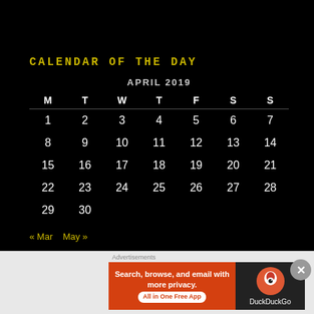CALENDAR OF THE DAY
| M | T | W | T | F | S | S |
| --- | --- | --- | --- | --- | --- | --- |
| 1 | 2 | 3 | 4 | 5 | 6 | 7 |
| 8 | 9 | 10 | 11 | 12 | 13 | 14 |
| 15 | 16 | 17 | 18 | 19 | 20 | 21 |
| 22 | 23 | 24 | 25 | 26 | 27 | 28 |
| 29 | 30 |  |  |  |  |  |
« Mar   May »
Advertisements
[Figure (screenshot): DuckDuckGo advertisement banner: orange background with text 'Search, browse, and email with more privacy. All in One Free App' and DuckDuckGo logo on dark right panel.]